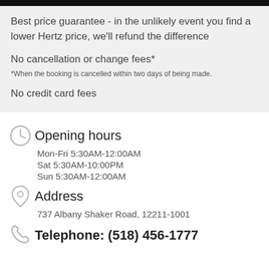Best price guarantee - in the unlikely event you find a lower Hertz price, we'll refund the difference
No cancellation or change fees*
*When the booking is cancelled within two days of being made.
No credit card fees
Opening hours
Mon-Fri 5:30AM-12:00AM
Sat 5:30AM-10:00PM
Sun 5:30AM-12:00AM
Address
737 Albany Shaker Road, 12211-1001
Telephone: (518) 456-1777